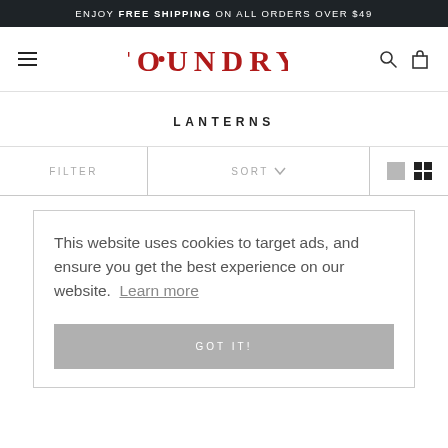ENJOY FREE SHIPPING ON ALL ORDERS OVER $49
[Figure (logo): Foundry brand logo in red serif font with hamburger menu, search icon, and shopping bag icon in navigation bar]
LANTERNS
FILTER   SORT ∨
This website uses cookies to target ads, and ensure you get the best experience on our website.  Learn more

GOT IT!